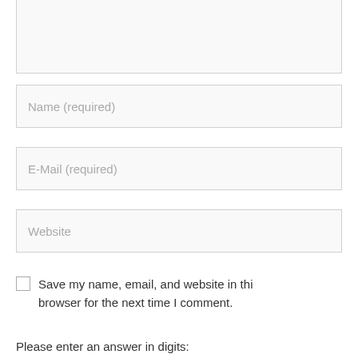[Figure (other): Text area input box (partially visible at top, no placeholder text)]
Name (required)
E-Mail (required)
Website
Save my name, email, and website in this browser for the next time I comment.
Please enter an answer in digits: